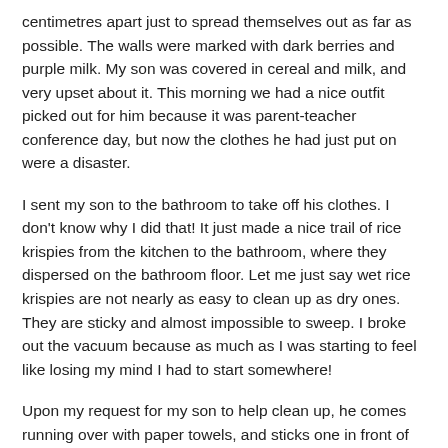centimetres apart just to spread themselves out as far as possible. The walls were marked with dark berries and purple milk. My son was covered in cereal and milk, and very upset about it. This morning we had a nice outfit picked out for him because it was parent-teacher conference day, but now the clothes he had just put on were a disaster.
I sent my son to the bathroom to take off his clothes. I don't know why I did that! It just made a nice trail of rice krispies from the kitchen to the bathroom, where they dispersed on the bathroom floor. Let me just say wet rice krispies are not nearly as easy to clean up as dry ones. They are sticky and almost impossible to sweep. I broke out the vacuum because as much as I was starting to feel like losing my mind I had to start somewhere!
Upon my request for my son to help clean up, he comes running over with paper towels, and sticks one in front of the vacuum. Well, that was the end of that! The vacuum no longer was sucking anything up. The paper towel had now disappeared somewhere into the central vac. Somewhere I could not see or remove. This was after about 2